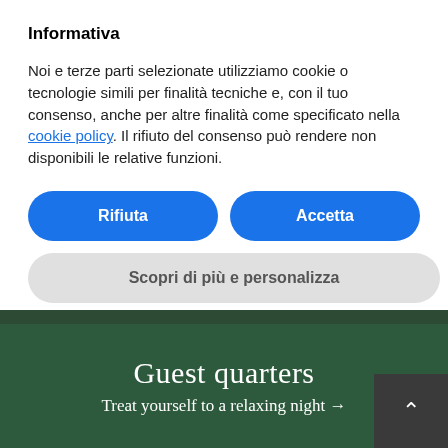Informativa
Noi e terze parti selezionate utilizziamo cookie o tecnologie simili per finalità tecniche e, con il tuo consenso, anche per altre finalità come specificato nella cookie policy. Il rifiuto del consenso può rendere non disponibili le relative funzioni.
Rifiuta
Accetta
Scopri di più e personalizza
Guest quarters
Treat yourself to a relaxing night →